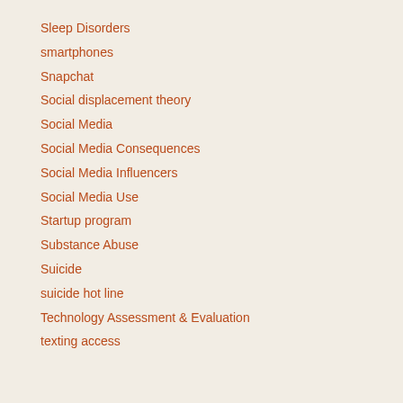Sleep Disorders
smartphones
Snapchat
Social displacement theory
Social Media
Social Media Consequences
Social Media Influencers
Social Media Use
Startup program
Substance Abuse
Suicide
suicide hot line
Technology Assessment & Evaluation
texting access